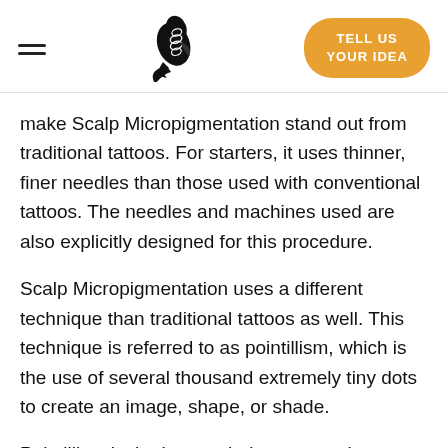Navigation header with hamburger menu, fish logo, and TELL US YOUR IDEA button
make Scalp Micropigmentation stand out from traditional tattoos. For starters, it uses thinner, finer needles than those used with conventional tattoos. The needles and machines used are also explicitly designed for this procedure.
Scalp Micropigmentation uses a different technique than traditional tattoos as well. This technique is referred to as pointillism, which is the use of several thousand extremely tiny dots to create an image, shape, or shade.
Pointillism is the best technique to use because